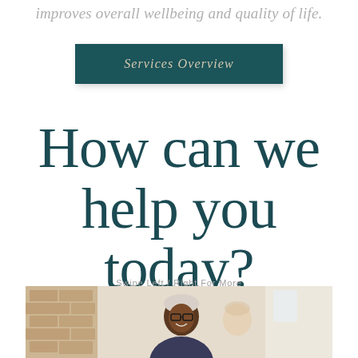improves overall wellbeing and quality of life.
Services Overview
How can we help you today?
Swipe Left / Right For More
[Figure (photo): Photo of a smiling older Black woman wearing glasses, in a bright indoor setting with brick wall visible in background]